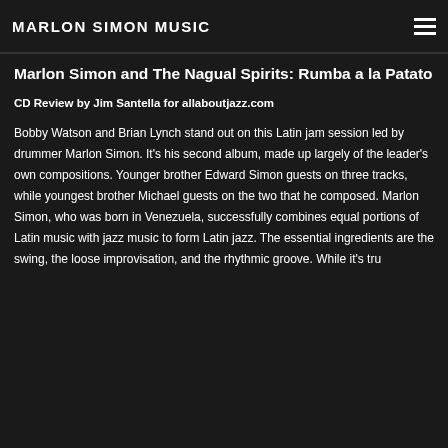MARLON SIMON MUSIC
Marlon Simon and The Nagual Spirits: Rumba a la Patato
CD Review by Jim Santella for allaboutjazz.com
Bobby Watson and Brian Lynch stand out on this Latin jam session led by drummer Marlon Simon. It's his second album, made up largely of the leader's own compositions. Younger brother Edward Simon guests on three tracks, while youngest brother Michael guests on the two that he composed. Marlon Simon, who was born in Venezuela, successfully combines equal portions of Latin music with jazz music to form Latin jazz. The essential ingredients are the swing, the loose improvisation, and the rhythmic groove. While it's tru